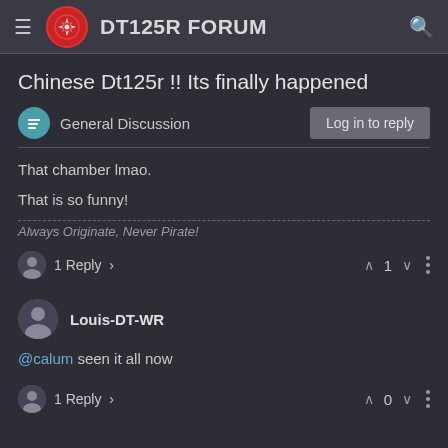DT125R FORUM
Chinese Dt125r !! Its finally happened
General Discussion
That chamber lmao.

That is so funny!
Always Originate, Never Pirate!
1 Reply > ∧ 1 ∨ ⋮
Louis-DT-WR
@calum seen it all now
1 Reply > ∧ 0 ∨ ⋮